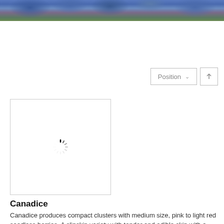[Figure (photo): Close-up photo of dark blue/purple grapes at the top of the page]
[Figure (screenshot): UI element showing Position dropdown button with down chevron and an up-arrow sort button]
[Figure (other): Image loading placeholder box with spinning loader icon]
Canadice
Canadice produces compact clusters with medium size, pink to light red seedless berries. A slipskin variety with tender and edible skin with a distinct but not overpoweringly labrusca flavor.